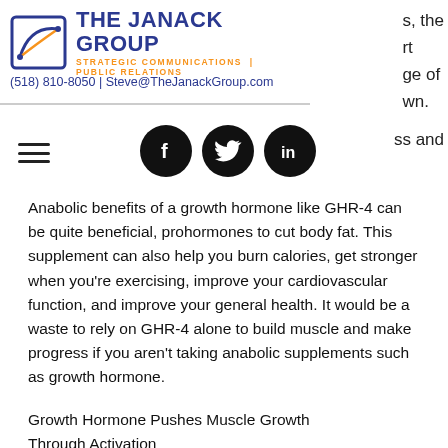[Figure (logo): The Janack Group logo with icon, name in blue, and tagline in orange]
(518) 810-8050 | Steve@TheJanackGroup.com
s, the rt ge of wn.
[Figure (infographic): Hamburger menu icon and Facebook, Twitter, LinkedIn social media icons (black circles with white logos)]
ss and
Anabolic benefits of a growth hormone like GHR-4 can be quite beneficial, prohormones to cut body fat. This supplement can also help you burn calories, get stronger when you're exercising, improve your cardiovascular function, and improve your general health. It would be a waste to rely on GHR-4 alone to build muscle and make progress if you aren't taking anabolic supplements such as growth hormone.
Growth Hormone Pushes Muscle Growth Through Activation